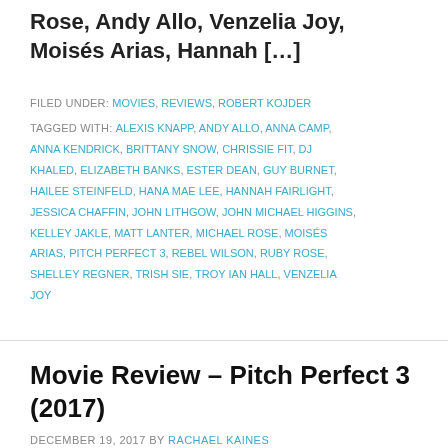Rose, Andy Allo, Venzelia Joy, Moisés Arias, Hannah […]
FILED UNDER: MOVIES, REVIEWS, ROBERT KOJDER
TAGGED WITH: ALEXIS KNAPP, ANDY ALLO, ANNA CAMP, ANNA KENDRICK, BRITTANY SNOW, CHRISSIE FIT, DJ KHALED, ELIZABETH BANKS, ESTER DEAN, GUY BURNET, HAILEE STEINFELD, HANA MAE LEE, HANNAH FAIRLIGHT, JESSICA CHAFFIN, JOHN LITHGOW, JOHN MICHAEL HIGGINS, KELLEY JAKLE, MATT LANTER, MICHAEL ROSE, MOISÉS ARIAS, PITCH PERFECT 3, REBEL WILSON, RUBY ROSE, SHELLEY REGNER, TRISH SIE, TROY IAN HALL, VENZELIA JOY
Movie Review – Pitch Perfect 3 (2017)
DECEMBER 19, 2017 BY RACHAEL KAINES
[Figure (photo): Thumbnail image for Pitch Perfect 3 article]